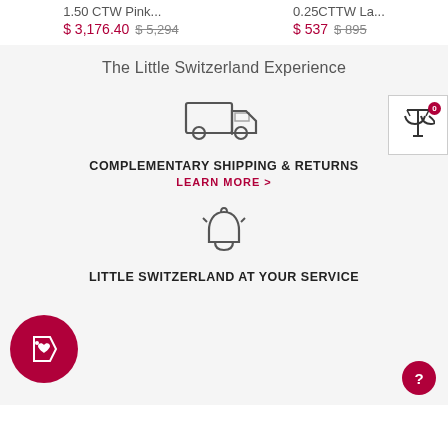1.50 CTW Pink...
$ 3,176.40  $ 5,294
0.25CTTW La...
$ 537  $ 895
The Little Switzerland Experience
[Figure (illustration): Delivery truck icon (outline style, grey)]
COMPLEMENTARY SHIPPING & RETURNS
LEARN MORE >
[Figure (illustration): Balance scale / compare icon with red badge showing 0]
[Figure (illustration): Bell / notification icon (outline style, grey), ringing]
[Figure (illustration): Pink circular badge with heart price-tag icon]
LITTLE SWITZERLAND AT YOUR SERVICE
[Figure (illustration): Pink circle with question mark - help button]